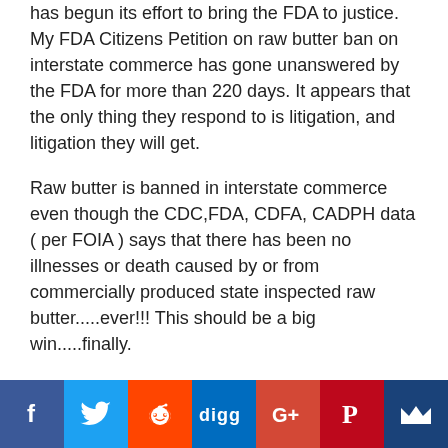has begun its effort to bring the FDA to justice. My FDA Citizens Petition on raw butter ban on interstate commerce has gone unanswered by the FDA for more than 220 days. It appears that the only thing they respond to is litigation, and litigation they will get.
Raw butter is banned in interstate commerce even though the CDC,FDA, CDFA, CADPH data ( per FOIA ) says that there has been no illnesses or death caused by or from commercially produced state inspected raw butter.....ever!!! This should be a big win.....finally.
Amanda...you should look up our triple test & hold program. In 14 hours we get a complete